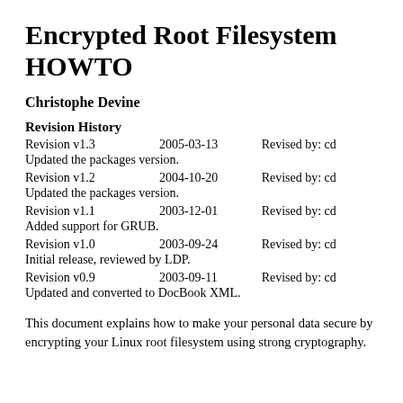Encrypted Root Filesystem HOWTO
Christophe Devine
Revision History
| Revision | Date | Revised by |
| --- | --- | --- |
| Revision v1.3 | 2005-03-13 | Revised by: cd |
| Updated the packages version. |  |  |
| Revision v1.2 | 2004-10-20 | Revised by: cd |
| Updated the packages version. |  |  |
| Revision v1.1 | 2003-12-01 | Revised by: cd |
| Added support for GRUB. |  |  |
| Revision v1.0 | 2003-09-24 | Revised by: cd |
| Initial release, reviewed by LDP. |  |  |
| Revision v0.9 | 2003-09-11 | Revised by: cd |
| Updated and converted to DocBook XML. |  |  |
This document explains how to make your personal data secure by encrypting your Linux root filesystem using strong cryptography.